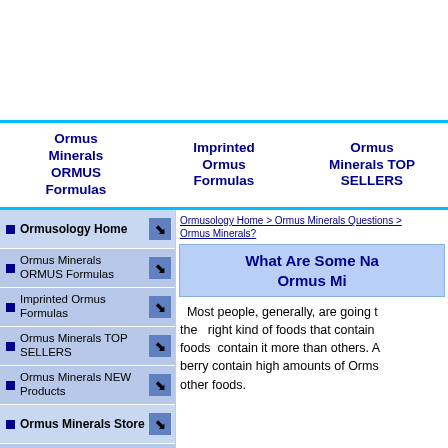Ormus Minerals ORMUS Formulas | Imprinted Ormus Formulas | Ormus Minerals TOP SELLERS
Ormusology Home
Ormus Minerals ORMUS Formulas
Imprinted Ormus Formulas
Ormus Minerals TOP SELLERS
Ormus Minerals NEW Products
Ormus Minerals Store
Ormus Minerals Questions
Ormusology Home > Ormus Minerals Questions > Ormus Minerals?
What Are Some Nat... Ormus Mi...
Most people, generally, are going to the right kind of foods that contain o foods contain it more than others. A berry contain high amounts of Ormu other foods.